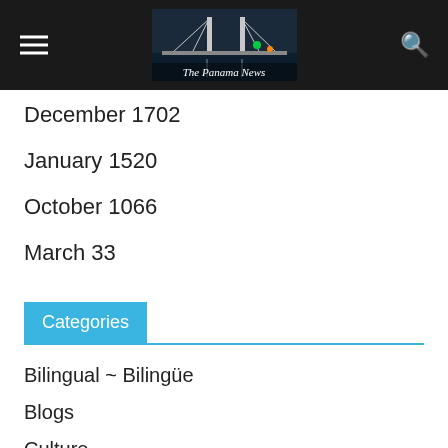The Panama News
December 1702
January 1520
October 1066
March 33
Categories
Bilingual ~ Bilingüe
Blogs
Culture
Cultura
Lista de reproducción de David Young
DJ EJ's Friday playlist